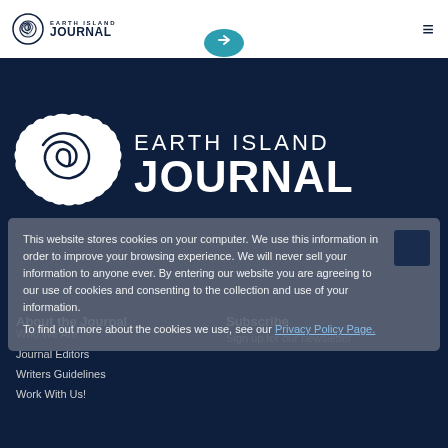Earth Island Journal — navigation header with logo and hamburger menu
[Figure (logo): Earth Island Journal large white logo on dark navy background — spiral shell icon with EARTH ISLAND JOURNAL text]
This website stores cookies on your computer. We use this information in order to improve your browsing experience. We will never sell your information to anyone ever. By entering our website you are agreeing to our use of cookies and consenting to the collection and use of your information.
To find out more about the cookies we use, see our Privacy Policy Page.
About the Journal
Who We Are
Journal Editors
Writers Guidelines
Work With Us!
Subscribe
Sign up for our newsletter